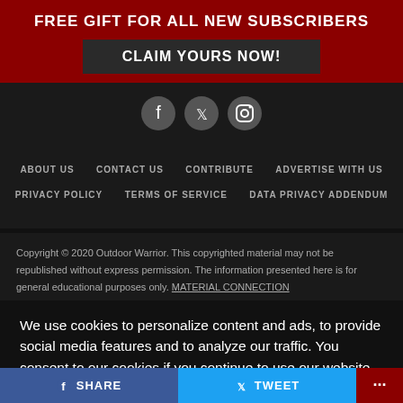FREE GIFT FOR ALL NEW SUBSCRIBERS
CLAIM YOURS NOW!
[Figure (other): Social media icons: Facebook, Twitter, Instagram]
ABOUT US   CONTACT US   CONTRIBUTE   ADVERTISE WITH US   PRIVACY POLICY   TERMS OF SERVICE   DATA PRIVACY ADDENDUM
Copyright © 2020 Outdoor Warrior. This copyrighted material may not be republished without express permission. The information presented here is for general educational purposes only. MATERIAL CONNECTION
We use cookies to personalize content and ads, to provide social media features and to analyze our traffic. You consent to our cookies if you continue to use our website.
Accept
SHARE   TWEET   ...